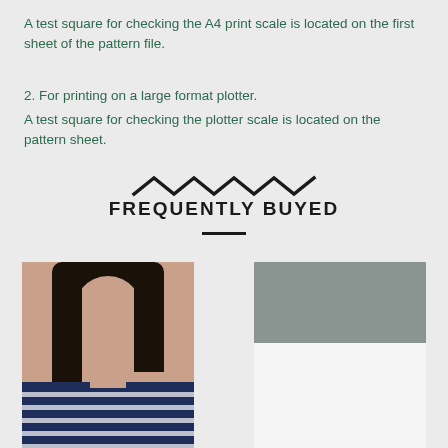A test square for checking the A4 print scale is located on the first sheet of the pattern file.
2. For printing on a large format plotter.
A test square for checking the plotter scale is located on the pattern sheet.
[Figure (illustration): Zigzag/wave decorative divider line]
FREQUENTLY BUYED
[Figure (photo): Photo of a woman wearing a navy blue and white striped sweater]
[Figure (photo): Product image placeholder with gray upper area and white lower area]